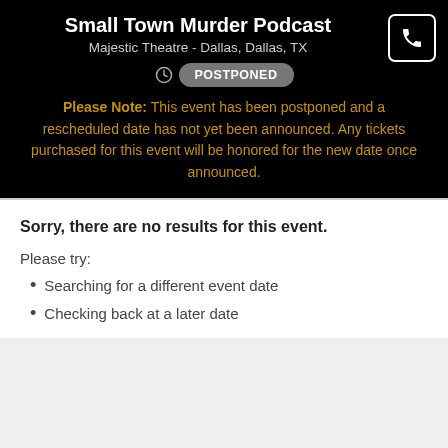Small Town Murder Podcast
Majestic Theatre - Dallas, Dallas, TX
POSTPONED
Please Note: This event has been postponed and a rescheduled date has not yet been announced. Any tickets purchased for this event will be honored for the new date once announced.
Sorry, there are no results for this event.
Please try:
Searching for a different event date
Checking back at a later date